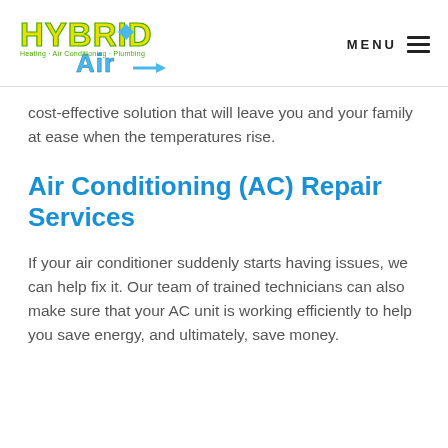[Figure (logo): Hybrid Air logo with yellow and green stylized text 'Hybrid Air' with subtitle 'Heating · Air Conditioning · Plumbing']
cost-effective solution that will leave you and your family at ease when the temperatures rise.
Air Conditioning (AC) Repair Services
If your air conditioner suddenly starts having issues, we can help fix it. Our team of trained technicians can also make sure that your AC unit is working efficiently to help you save energy, and ultimately, save money.